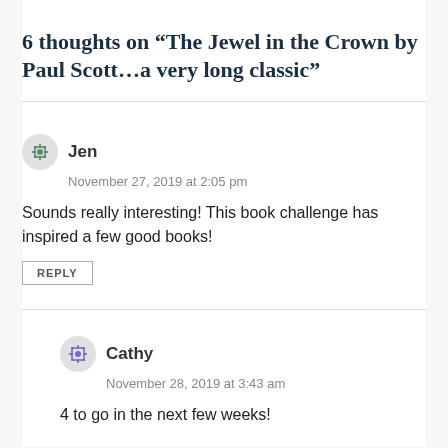6 thoughts on “The Jewel in the Crown by Paul Scott…a very long classic”
Jen
November 27, 2019 at 2:05 pm
Sounds really interesting! This book challenge has inspired a few good books!
REPLY
Cathy
November 28, 2019 at 3:43 am
4 to go in the next few weeks!